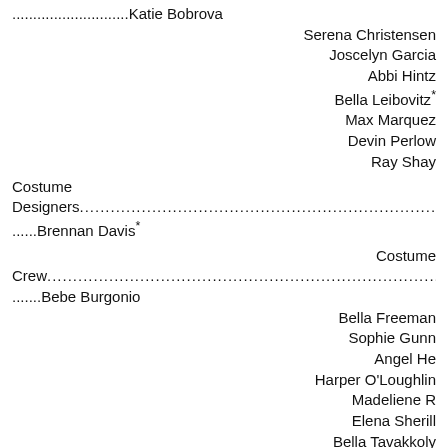............................Katie Bobrova
Serena Christensen
Joscelyn Garcia
Abbi Hintz
Bella Leibovitz*
Max Marquez
Devin Perlow
Ray Shay
Costume Designers.................................................................Brennan Davis*
Costume Crew.............................................Bebe Burgonio
Bella Freeman
Sophie Gunn
Angel He
Harper O'Loughlin
Madeliene R
Elena Sherill
Bella Tavakkoly
Samantha Watson
Karenna Wilson
Makeup and Hair